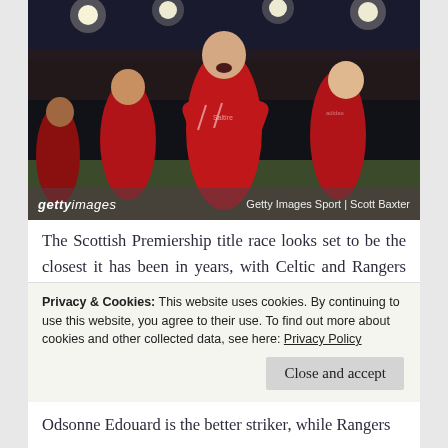[Figure (photo): Football players in red Aberdeen FC jerseys celebrating on the pitch in a stadium, one player in the center with mouth open celebrating, others behind him smiling. Stadium lights visible in background. Getty Images watermark overlay at bottom.]
The Scottish Premiership title race looks set to be the closest it has been in years, with Celtic and Rangers currently level on points having already swapped places at the top of the table. Since both teams have
Privacy & Cookies: This website uses cookies. By continuing to use this website, you agree to their use. To find out more about cookies and other collected data, see here: Privacy Policy
Close and accept
Odsonne Edouard is the better striker, while Rangers